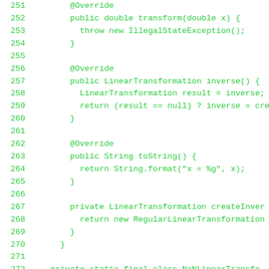Code listing lines 251-279 showing Java source code with LinearTransformation class methods including transform, inverse, toString, createInverse, and NaNLinearTransformation class with isVertical method.